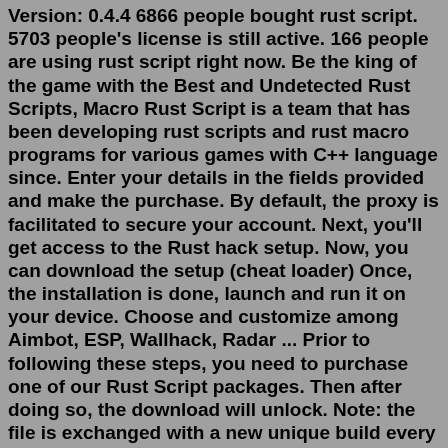Version: 0.4.4 6866 people bought rust script. 5703 people's license is still active. 166 people are using rust script right now. Be the king of the game with the Best and Undetected Rust Scripts, Macro Rust Script is a team that has been developing rust scripts and rust macro programs for various games with C++ language since. Enter your details in the fields provided and make the purchase. By default, the proxy is facilitated to secure your account. Next, you'll get access to the Rust hack setup. Now, you can download the setup (cheat loader) Once, the installation is done, launch and run it on your device. Choose and customize among Aimbot, ESP, Wallhack, Radar ... Prior to following these steps, you need to purchase one of our Rust Script packages. Then after doing so, the download will unlock. Note: the file is exchanged with a new unique build every 3 minutes – old versions will be deleted from the server after 30 minutes, so you may need to refresh this page if your download is invalid after spending some time reading this. ... FREE RUST SCRIPT.exe